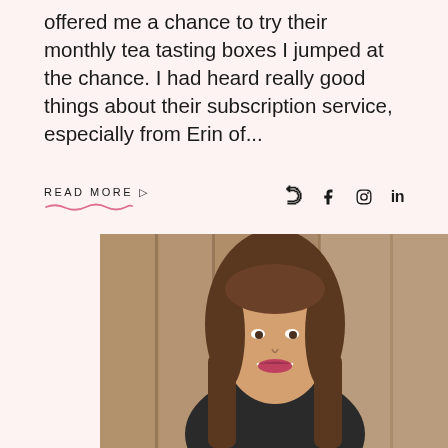offered me a chance to try their monthly tea tasting boxes I jumped at the chance. I had heard really good things about their subscription service, especially from Erin of...
READ MORE ▷
[Figure (photo): Portrait photo of a young woman with long brown hair, smiling, wearing dark clothing, with a wooden plank background]